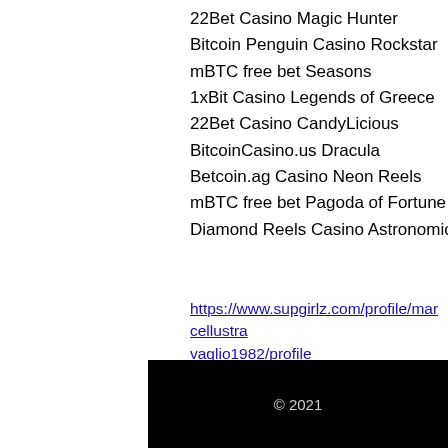22Bet Casino Magic Hunter
Bitcoin Penguin Casino Rockstar
mBTC free bet Seasons
1xBit Casino Legends of Greece
22Bet Casino CandyLicious
BitcoinCasino.us Dracula
Betcoin.ag Casino Neon Reels
mBTC free bet Pagoda of Fortune
Diamond Reels Casino Astronomical
https://www.supgirlz.com/profile/marcellustra vaglio1982/profile
https://www.cdrfimalawi.org/community/profile/bitz6663519/
https://linesdrawn.org/bitstarz42-bitstarz-sister-casinos/
https://www.lovelikecharlie.com/profile/leifhardyman1994/profile
© 2021